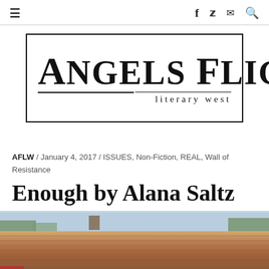≡  f  🐦  ✉  🔍
[Figure (logo): Angels Flight literary west logo — large bold serif text in a rectangular border with double horizontal rule and 'literary west' subtitle]
AFLW / January 4, 2017 / ISSUES, Non-Fiction, REAL, Wall of Resistance
Enough by Alana Saltz
[Figure (photo): Photograph showing the roofline of a building with terracotta/brown roof tiles against a light blue sky with trees visible]